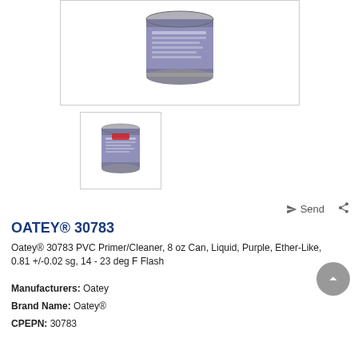[Figure (photo): Main product image of Oatey 30783 PVC Primer/Cleaner can, purple liquid in a metal can with label]
[Figure (photo): Thumbnail image of Oatey 30783 PVC Primer/Cleaner can]
OATEY® 30783
Oatey® 30783 PVC Primer/Cleaner, 8 oz Can, Liquid, Purple, Ether-Like, 0.81 +/-0.02 sg, 14 - 23 deg F Flash
Manufacturers: Oatey
Brand Name: Oatey®
CPEPN: 30783